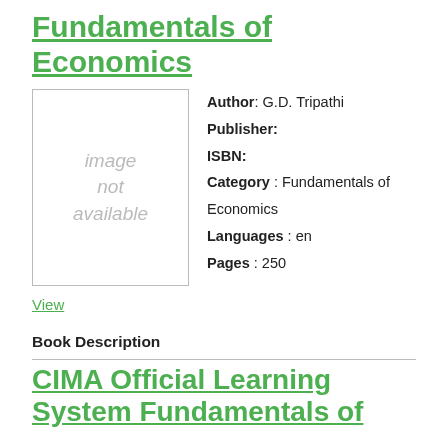Fundamentals of Economics
[Figure (illustration): Book cover placeholder with text 'image not available']
Author: G.D. Tripathi
Publisher:
ISBN:
Category: Fundamentals of Economics
Languages: en
Pages: 250
View
Book Description
CIMA Official Learning System Fundamentals of